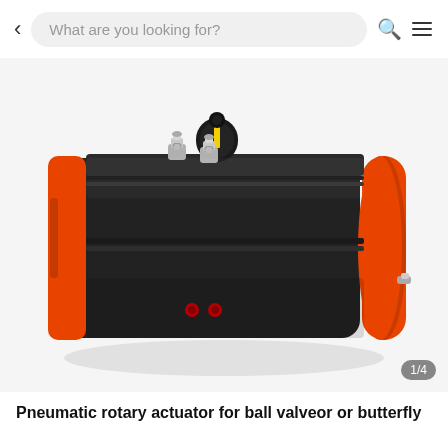< What are you looking for? [search icon] [menu icon]
[Figure (photo): Photograph of a pneumatic rotary actuator with black anodized aluminum body, orange end caps, two stainless steel port fittings on top, a black cylindrical shaft coupler on the top center, two red port plugs on the front face, and a small fitting on the right orange end cap. White background. Image counter badge showing 1/4 in bottom right corner.]
Pneumatic rotary actuator for ball valveor or butterfly